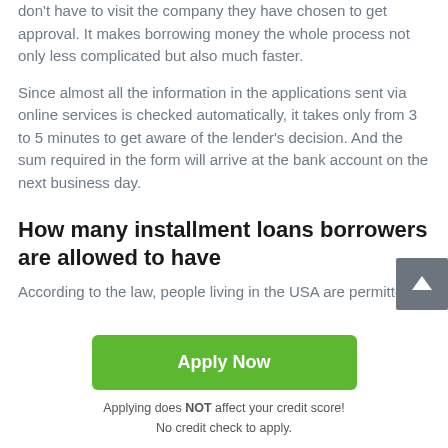don't have to visit the company they have chosen to get approval. It makes borrowing money the whole process not only less complicated but also much faster.
Since almost all the information in the applications sent via online services is checked automatically, it takes only from 3 to 5 minutes to get aware of the lender's decision. And the sum required in the form will arrive at the bank account on the next business day.
How many installment loans borrowers are allowed to have
According to the law, people living in the USA are permitted
[Figure (other): Green Apply Now button with text 'Applying does NOT affect your credit score! No credit check to apply.' below it, and a grey scroll-up arrow button in the upper right area.]